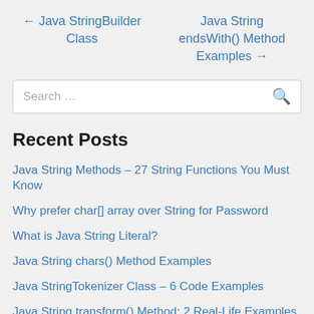← Java StringBuilder Class
Java String endsWith() Method Examples →
Search …
Recent Posts
Java String Methods – 27 String Functions You Must Know
Why prefer char[] array over String for Password
What is Java String Literal?
Java String chars() Method Examples
Java StringTokenizer Class – 6 Code Examples
Java String transform() Method: 2 Real-Life Examples
How to Remove Whitespace from String in Java